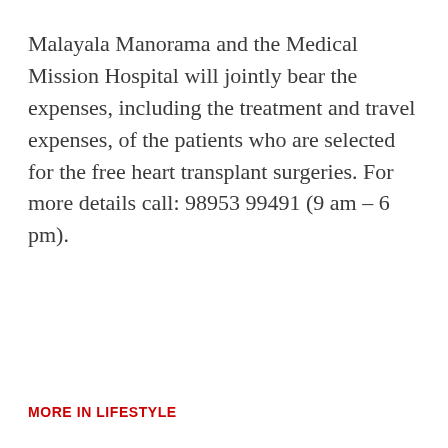Malayala Manorama and the Medical Mission Hospital will jointly bear the expenses, including the treatment and travel expenses, of the patients who are selected for the free heart transplant surgeries. For more details call: 98953 99491 (9 am – 6 pm).
MORE IN LIFESTYLE